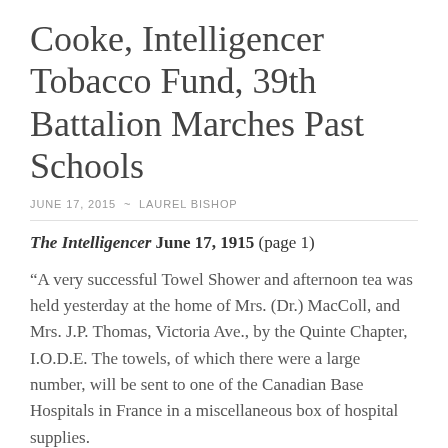Cooke, Intelligencer Tobacco Fund, 39th Battalion Marches Past Schools
JUNE 17, 2015 ~ LAUREL BISHOP
The Intelligencer June 17, 1915 (page 1)
“A very successful Towel Shower and afternoon tea was held yesterday at the home of Mrs. (Dr.) MacColl, and Mrs. J.P. Thomas, Victoria Ave., by the Quinte Chapter, I.O.D.E. The towels, of which there were a large number, will be sent to one of the Canadian Base Hospitals in France in a miscellaneous box of hospital supplies.
The Regent, Mrs. E. Guss Porter, received with